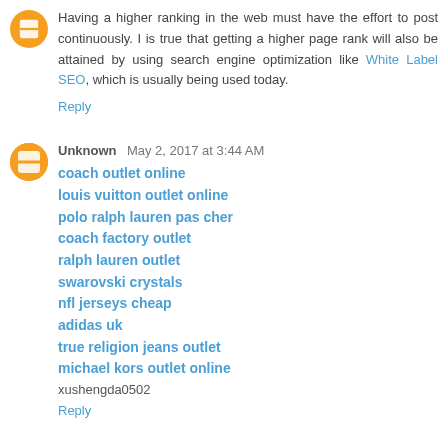Having a higher ranking in the web must have the effort to post continuously. I is true that getting a higher page rank will also be attained by using search engine optimization like White Label SEO, which is usually being used today.
Reply
Unknown  May 2, 2017 at 3:44 AM
coach outlet online
louis vuitton outlet online
polo ralph lauren pas cher
coach factory outlet
ralph lauren outlet
swarovski crystals
nfl jerseys cheap
adidas uk
true religion jeans outlet
michael kors outlet online
xushengda0502
Reply